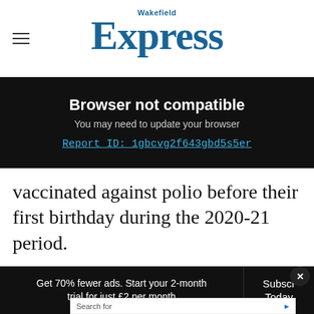Wakefield Express
Browser not compatible
You may need to update your browser
Report ID: 1gbcvg2f643gbd5s5er
vaccinated against polio before their first birthday during the 2020-21 period.
Advertisement
Search for
1. APPOINTMENT FOR POLIO VACCINE
Yahoo! Search | Sponsored
Get 70% fewer ads. Start your 2-month trial for just £2 per month
Subscribe Today